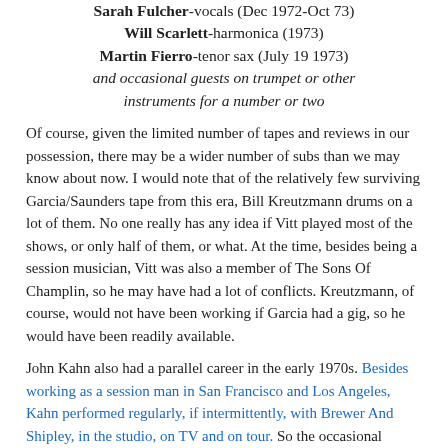Sarah Fulcher-vocals (Dec 1972-Oct 73)
Will Scarlett-harmonica (1973)
Martin Fierro-tenor sax (July 19 1973)
and occasional guests on trumpet or other instruments for a number or two
Of course, given the limited number of tapes and reviews in our possession, there may be a wider number of subs than we may know about now. I would note that of the relatively few surviving Garcia/Saunders tape from this era, Bill Kreutzmann drums on a lot of them. No one really has any idea if Vitt played most of the shows, or only half of them, or what. At the time, besides being a session musician, Vitt was also a member of The Sons Of Champlin, so he may have had a lot of conflicts. Kreutzmann, of course, would not have been working if Garcia had a gig, so he would have been readily available.
John Kahn also had a parallel career in the early 1970s. Besides working as a session man in San Francisco and Los Angeles, Kahn performed regularly, if intermittently, with Brewer And Shipley, in the studio, on TV and on tour. So the occasional Garcia/Saunders show without Kahn (such as